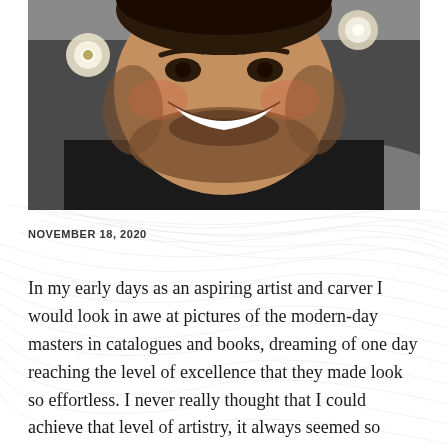[Figure (photo): Close-up photo of a smiling man with a beard wearing a black t-shirt, with lights visible in the background]
NOVEMBER 18, 2020
In my early days as an aspiring artist and carver I would look in awe at pictures of the modern-day masters in catalogues and books, dreaming of one day reaching the level of excellence that they made look so effortless. I never really thought that I could achieve that level of artistry, it always seemed so